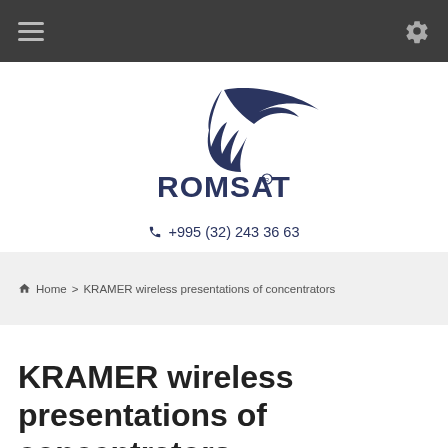Navigation bar with menu and settings icons
[Figure (logo): ROMSAT logo — stylized bird above bold text ROMSAT with registered trademark symbol]
☎ +995 (32) 243 36 63
⌂ Home > KRAMER wireless presentations of concentrators
KRAMER wireless presentations of concentrators
🗓 23 Jul, 2015